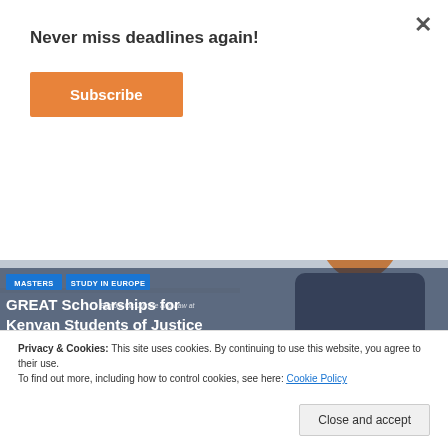Never miss deadlines again!
Subscribe
[Figure (screenshot): Banner image showing GREAT Scholarships for Kenyan Students with a professional woman, overlaid with tags MASTERS and STUDY IN EUROPE, and headline GREAT Scholarships for Kenyan Students of Justice]
Privacy & Cookies: This site uses cookies. By continuing to use this website, you agree to their use.
To find out more, including how to control cookies, see here: Cookie Policy
Close and accept